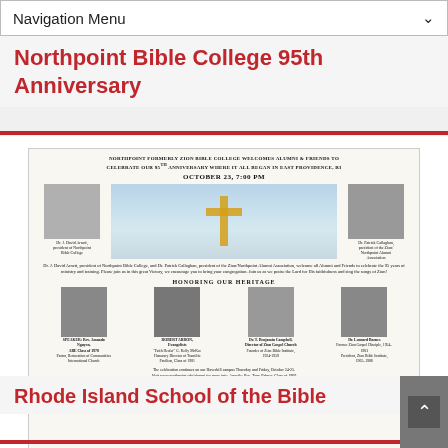Navigation Menu
Northpoint Bible College 95th Anniversary
[Figure (photo): Flyer for Northpoint (formerly Zion) Bible College 95th Anniversary event on October 23 at 7:00 PM in East Providence, RI. Includes portraits of Dr. J. David Arnett (president of Northpoint Bible College) and Dr. Patrick Callaghan (president of the Zion/Northpoint Alumni Association), a cross image, and a section 'Honoring Our Heritage' with portraits of four speakers/honorees. Footer text mentions the celebration continues on the Haverhill campus Thursday and Friday, October 24-25, with keynote speaker Rev. Tony Palmer, Class of 1969.]
Rhode Island School of the Bible